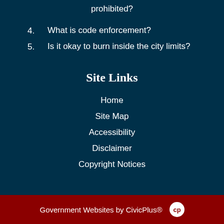4. What is code enforcement?
5. Is it okay to burn inside the city limits?
Site Links
Home
Site Map
Accessibility
Disclaimer
Copyright Notices
Government Websites by CivicPlus®